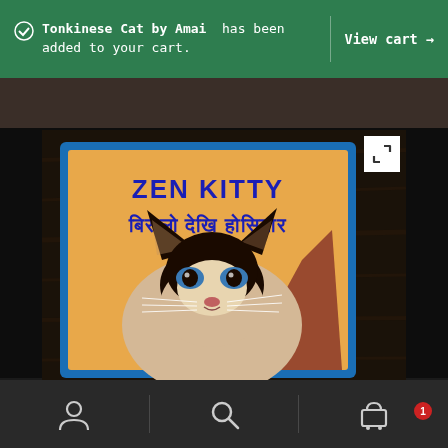Tonkinese Cat by Amai has been added to your cart.
View cart →
[Figure (photo): Photo of a hand-painted sign/card with blue border on orange background reading 'ZEN KITTY' in blue English letters and Devanagari script 'बिरालो देखि होसियार', featuring a painted Siamese/Tonkinese cat face with dark markings and whiskers, against a dark wooden surface.]
[Figure (screenshot): Bottom navigation bar of a mobile e-commerce app with user/account icon, search icon, and shopping cart icon with badge showing '1'.]